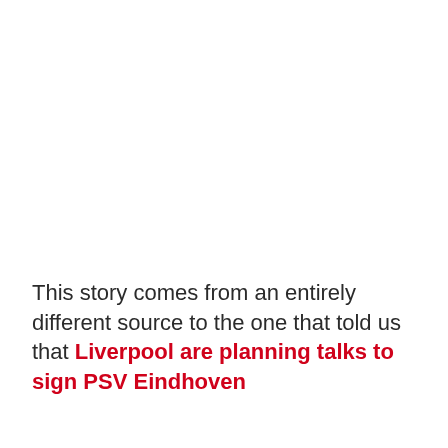This story comes from an entirely different source to the one that told us that Liverpool are planning talks to sign PSV Eindhoven